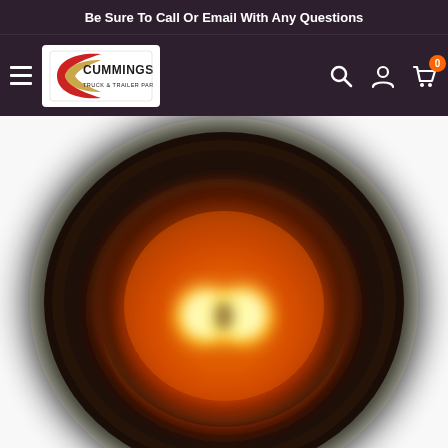Be Sure To Call Or Email With Any Questions
[Figure (logo): Cummings Truck & Trailer Parts logo]
[Figure (photo): Close-up photo of an amber LED marker light, heavily blurred, showing glowing yellow-orange LEDs inside a dark rubber grommet housing]